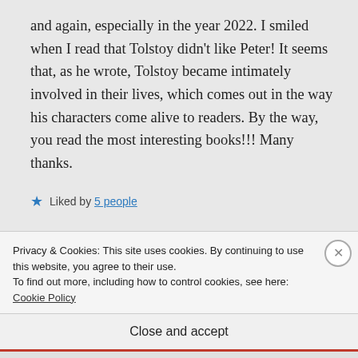and again, especially in the year 2022. I smiled when I read that Tolstoy didn't like Peter! It seems that, as he wrote, Tolstoy became intimately involved in their lives, which comes out in the way his characters come alive to readers. By the way, you read the most interesting books!!! Many thanks.
Liked by 5 people
Dave Astor says:
Privacy & Cookies: This site uses cookies. By continuing to use this website, you agree to their use.
To find out more, including how to control cookies, see here: Cookie Policy
Close and accept